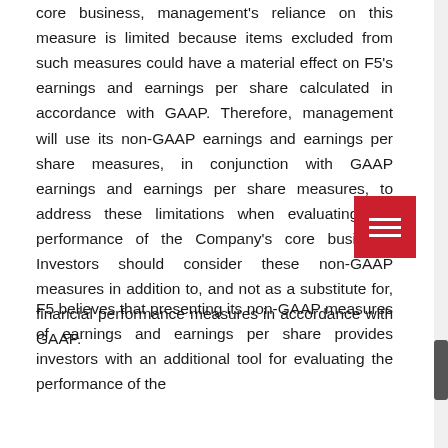core business, management's reliance on this measure is limited because items excluded from such measures could have a material effect on F5's earnings and earnings per share calculated in accordance with GAAP. Therefore, management will use its non-GAAP earnings and earnings per share measures, in conjunction with GAAP earnings and earnings per share measures, to address these limitations when evaluating the performance of the Company's core business. Investors should consider these non-GAAP measures in addition to, and not as a substitute for, financial performance measures in accordance with GAAP.
F5 believes that presenting its non-GAAP measures of earnings and earnings per share provides investors with an additional tool for evaluating the performance of the